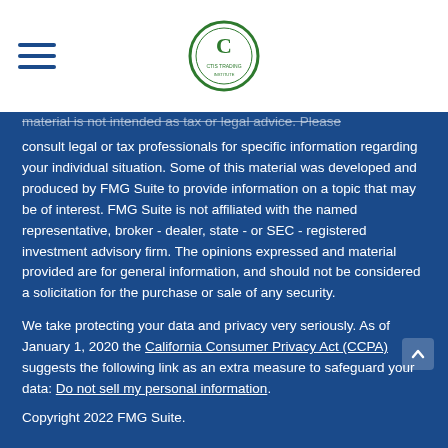[Logo: CTIS TRADING or similar, circular green emblem]
material is not intended as tax or legal advice. Please consult legal or tax professionals for specific information regarding your individual situation. Some of this material was developed and produced by FMG Suite to provide information on a topic that may be of interest. FMG Suite is not affiliated with the named representative, broker - dealer, state - or SEC - registered investment advisory firm. The opinions expressed and material provided are for general information, and should not be considered a solicitation for the purchase or sale of any security.
We take protecting your data and privacy very seriously. As of January 1, 2020 the California Consumer Privacy Act (CCPA) suggests the following link as an extra measure to safeguard your data: Do not sell my personal information.
Copyright 2022 FMG Suite.